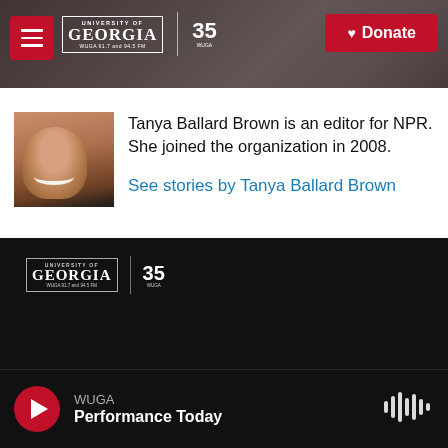[Figure (screenshot): University of Georgia WUGA 91.7 and 94.5 FM radio station header with logo, navigation menu button, and red Donate button over a blurred radio mixing board background]
[Figure (photo): Headshot photo of Tanya Ballard Brown, smiling]
Tanya Ballard Brown is an editor for NPR. She joined the organization in 2008.
See stories by Tanya Ballard Brown
[Figure (logo): University of Georgia WUGA 91.7 and 94.5 FM logo with 35 WUGA anniversary logo, white on black background]
WUGA
Performance Today